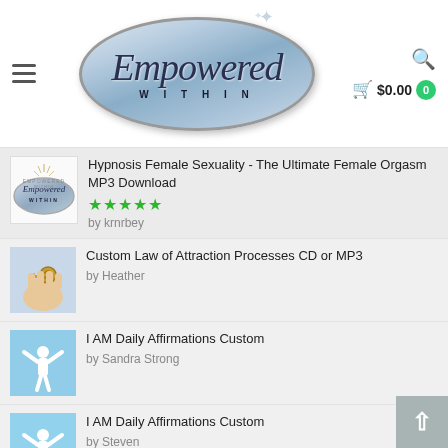Empowered Within — $0.00 cart
Hypnosis Female Sexuality - The Ultimate Female Orgasm MP3 Download
★★★★★
by krnrbey
Custom Law of Attraction Processes CD or MP3
by Heather
I AM Daily Affirmations Custom
by Sandra Strong
I AM Daily Affirmations Custom
by Steven